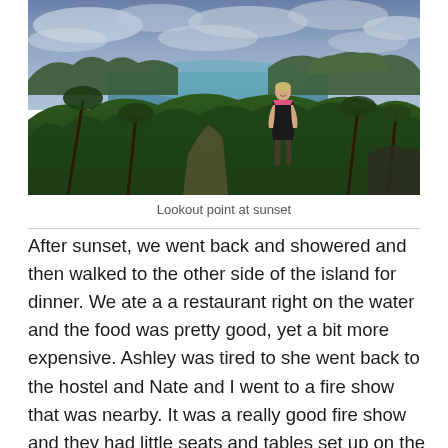[Figure (photo): Panoramic photo of a tropical island viewpoint at sunset. A woman in a black tank top stands at a lookout point with lush green vegetation below and turquoise water and islands in the background under a cloudy blue sky.]
Lookout point at sunset
After sunset, we went back and showered and then walked to the other side of the island for dinner. We ate a a restaurant right on the water and the food was pretty good, yet a bit more expensive. Ashley was tired to she went back to the hostel and Nate and I went to a fire show that was nearby. It was a really good fire show and they had little seats and tables set up on the beach. So, we had a beer and watched them twirl fire for about 2 hours. On the way back you could see and hear all of the parties, but we